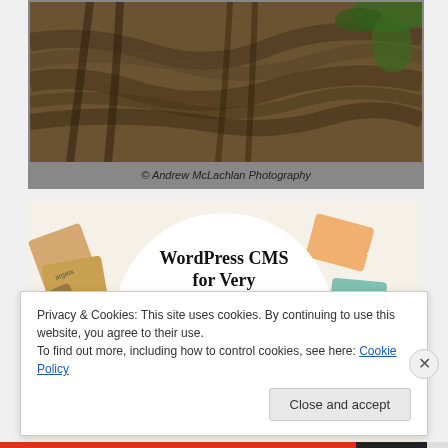[Figure (photo): Muddy churned earth/soil with tire tracks, green grass visible at top right corner, framed with grey border]
© Andrew McLachlan Photography
[Figure (illustration): WordPress VIP advertisement showing 'WordPress CMS for Very Important Content' with WP logo and 'Learn more' button, circular white center on colorful background with cards/tags]
Privacy & Cookies: This site uses cookies. By continuing to use this website, you agree to their use.
To find out more, including how to control cookies, see here: Cookie Policy